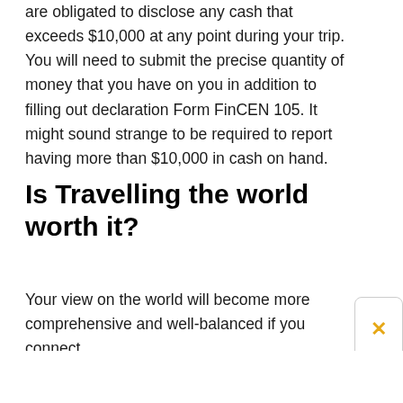are obligated to disclose any cash that exceeds $10,000 at any point during your trip. You will need to submit the precise quantity of money that you have on you in addition to filling out declaration Form FinCEN 105. It might sound strange to be required to report having more than $10,000 in cash on hand.
Is Travelling the world worth it?
Your view on the world will become more comprehensive and well-balanced if you connect